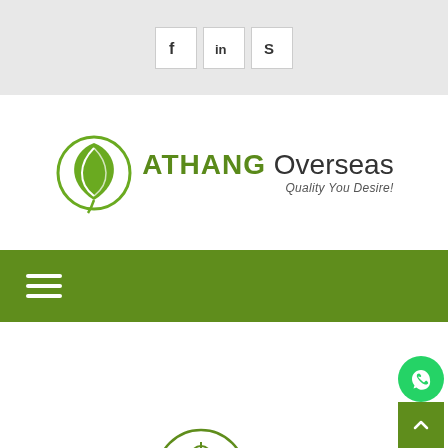[Figure (screenshot): Top social media bar with Facebook, LinkedIn, and Skype icon buttons on a light gray background]
[Figure (logo): Athang Overseas logo with green leaf icon, bold green ATHANG text, regular weight Overseas text, and tagline 'Quality You Desire!']
[Figure (infographic): Dark green navigation bar with white hamburger menu icon (three horizontal lines)]
[Figure (other): White content area with green WhatsApp button circle at bottom right and green scroll-to-top button below it, plus partial circular badge/seal icon at bottom center]